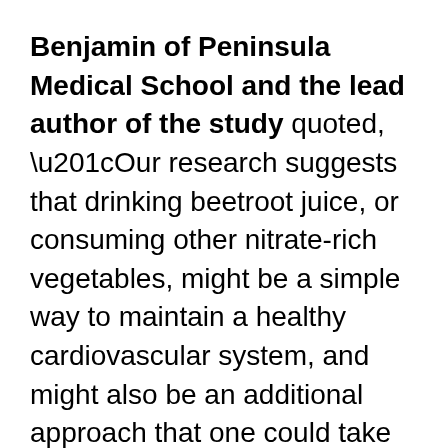Benjamin of Peninsula Medical School and the lead author of the study quoted, “Our research suggests that drinking beetroot juice, or consuming other nitrate-rich vegetables, might be a simple way to maintain a healthy cardiovascular system, and might also be an additional approach that one could take in the modern day battle against rising blood pressure.”
The scientists explained that the bacteria on the tongue convert the